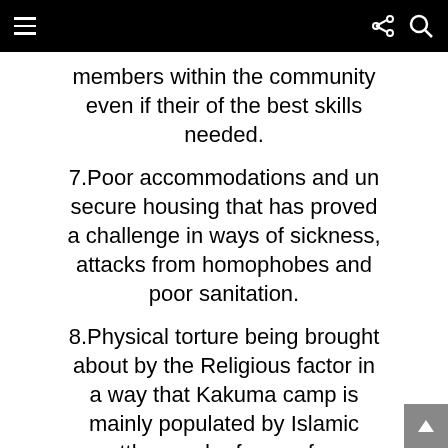≡ (menu icon), share icon, search icon
members within the community even if their of the best skills needed.
7.Poor accommodations and un secure housing that has proved a challenge in ways of sickness, attacks from homophobes and poor sanitation.
8.Physical torture being brought about by the Religious factor in a way that Kakuma camp is mainly populated by Islamic settlers and refugees from